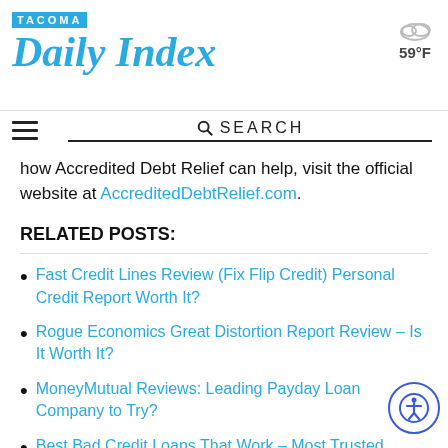TACOMA Daily Index — 59°F
how Accredited Debt Relief can help, visit the official website at AccreditedDebtRelief.com.
RELATED POSTS:
Fast Credit Lines Review (Fix Flip Credit) Personal Credit Report Worth It?
Rogue Economics Great Distortion Report Review – Is It Worth It?
MoneyMutual Reviews: Leading Payday Loan Company to Try?
Best Bad Credit Loans That Work – Most Trusted Personal Lending Options